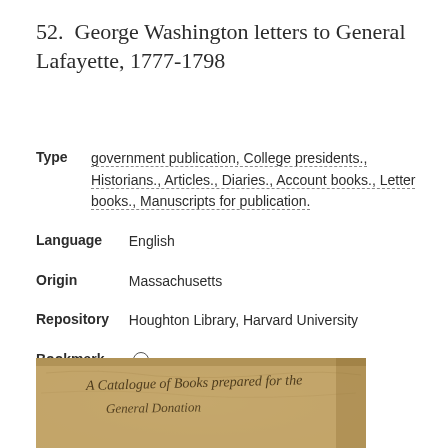52.  George Washington letters to General Lafayette, 1777-1798
Type   government publication, College presidents., Historians., Articles., Diaries., Account books., Letter books., Manuscripts for publication.
Language   English
Origin   Massachusetts
Repository   Houghton Library, Harvard University
Bookmark   ○
[Figure (photo): Aged manuscript page with handwritten cursive text reading 'A Catalogue of Books prepared for the General Something', appearing to be an 18th century document on aged paper with brownish tones]